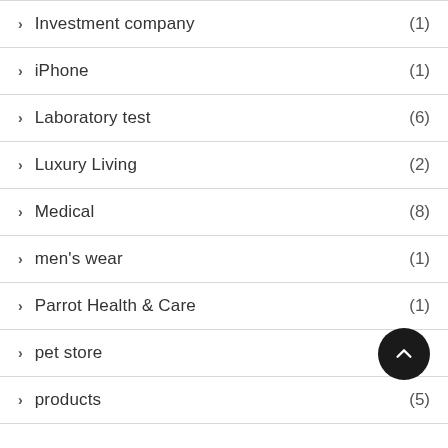> Investment company (1)
> iPhone (1)
> Laboratory test (6)
> Luxury Living (2)
> Medical (8)
> men's wear (1)
> Parrot Health & Care (1)
> pet store (2)
> products (5)